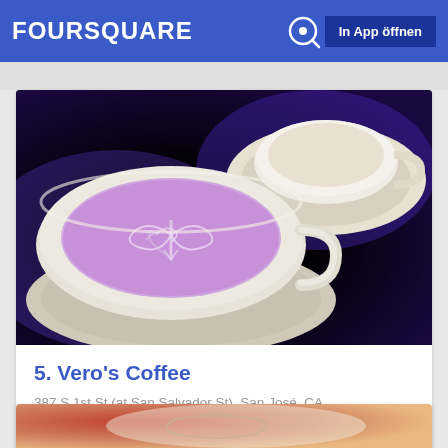FOURSQUARE   🔍   In App öffnen
[Figure (photo): Overhead photo of a latte coffee cup with latte art (heart/leaf pattern) in purple-pink tones, with another cup/saucer visible in the background on a dark purple surface.]
5. Vero's Coffee
387 S 1st St (at San Salvador St), San José, CA
Coffee Shop · Downtown San Jose · 10 Tipps und Bewertungen
[Figure (photo): Partial photo at the bottom showing another coffee cup with latte art on a reddish/warm-toned background.]